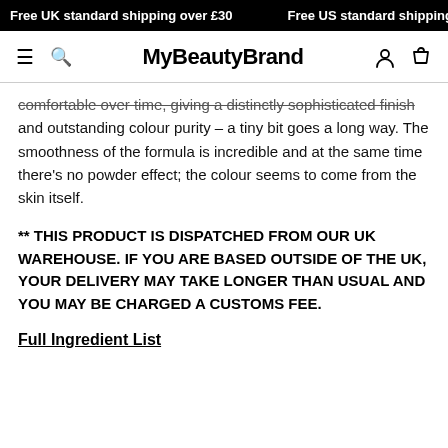Free UK standard shipping over £30   Free US standard shipping
MyBeautyBrand
comfortable over time, giving a distinctly sophisticated finish and outstanding colour purity – a tiny bit goes a long way. The smoothness of the formula is incredible and at the same time there's no powder effect; the colour seems to come from the skin itself.
** THIS PRODUCT IS DISPATCHED FROM OUR UK WAREHOUSE. IF YOU ARE BASED OUTSIDE OF THE UK, YOUR DELIVERY MAY TAKE LONGER THAN USUAL AND YOU MAY BE CHARGED A CUSTOMS FEE.
Full Ingredient List